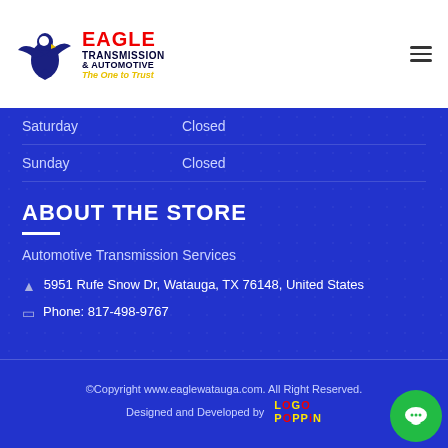Eagle Transmission & Automotive - The One to Trust
Saturday   Closed
Sunday   Closed
ABOUT THE STORE
Automotive Transmission Services
5951 Rufe Snow Dr, Watauga, TX 76148, United States
Phone: 817-498-9767
©Copyright www.eaglewatauga.com. All Right Reserved. Designed and Developed by LGo POPPiN